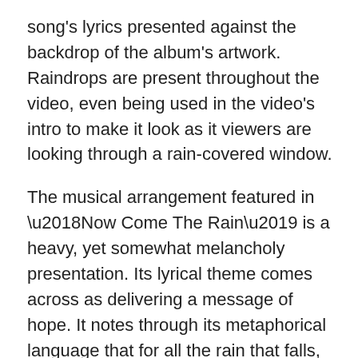song's lyrics presented against the backdrop of the album's artwork. Raindrops are present throughout the video, even being used in the video's intro to make it look as it viewers are looking through a rain-covered window.
The musical arrangement featured in ‘Now Come The Rain’ is a heavy, yet somewhat melancholy presentation. Its lyrical theme comes across as delivering a message of hope. It notes through its metaphorical language that for all the rain that falls, there is some sunshine. It is certain to engage and entertain audiences.
Pre-orders are open now for Long Day Good Night.  The album will be available through a variety of platforms, all of which are noted below.
– digipak-CD
– digi...